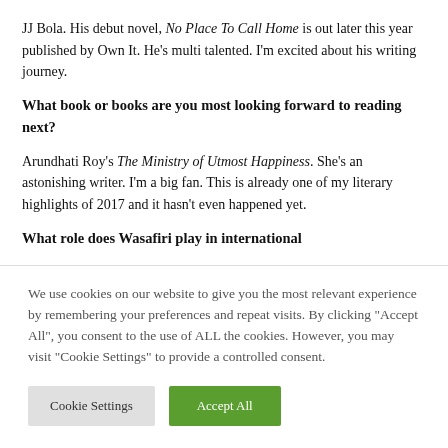JJ Bola. His debut novel, No Place To Call Home is out later this year published by Own It. He's multi talented. I'm excited about his writing journey.
What book or books are you most looking forward to reading next?
Arundhati Roy's The Ministry of Utmost Happiness. She's an astonishing writer. I'm a big fan. This is already one of my literary highlights of 2017 and it hasn't even happened yet.
What role does Wasafiri play in international
We use cookies on our website to give you the most relevant experience by remembering your preferences and repeat visits. By clicking "Accept All", you consent to the use of ALL the cookies. However, you may visit "Cookie Settings" to provide a controlled consent.